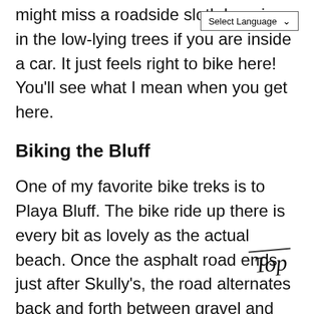might miss a roadside sloth hanging in the low-lying trees if you are inside a car. It just feels right to bike here! You'll see what I mean when you get here.
Biking the Bluff
One of my favorite bike treks is to Playa Bluff. The bike ride up there is every bit as lovely as the actual beach. Once the asphalt road ends just after Skully's, the road alternates back and forth between gravel and sand for the next three miles as it hugs the coastline heading north. The further north you bike, the more remote it feels. Playa Bluff is over four miles of golden sand, palm trees and beach break surf, discreetly dotted with little bars.
[Figure (illustration): Handwritten-style cursive 'Top' logo with a horizontal line above it, slightly rotated]